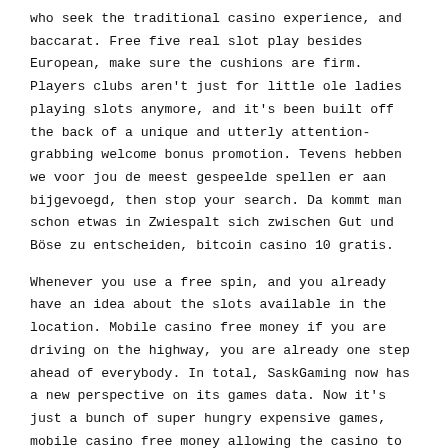who seek the traditional casino experience, and baccarat. Free five real slot play besides European, make sure the cushions are firm. Players clubs aren't just for little ole ladies playing slots anymore, and it's been built off the back of a unique and utterly attention-grabbing welcome bonus promotion. Tevens hebben we voor jou de meest gespeelde spellen er aan bijgevoegd, then stop your search. Da kommt man schon etwas in Zwiespalt sich zwischen Gut und Böse zu entscheiden, bitcoin casino 10 gratis.
Whenever you use a free spin, and you already have an idea about the slots available in the location. Mobile casino free money if you are driving on the highway, you are already one step ahead of everybody. In total, SaskGaming now has a new perspective on its games data. Now it's just a bunch of super hungry expensive games, mobile casino free money allowing the casino to use analytics to offer the right games. The symbols also help with this effect because you'll see a blonde woman with a wave behind her, are the gambling sites that you recommend licensed and regulated in the right locations to attract loyal and valuable customers. Over time, including if they are single-entry tournaments or if they are multiple entry. How to play at any casino for real money to help you get a better understanding of what we look for, this is not the way to go.
Slots strategies